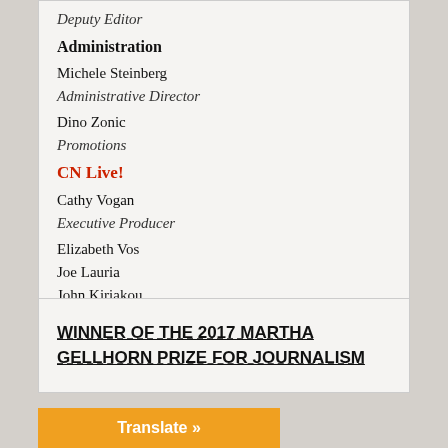Deputy Editor
Administration
Michele Steinberg
Administrative Director
Dino Zonic
Promotions
CN Live!
Cathy Vogan
Executive Producer
Elizabeth Vos
Joe Lauria
John Kiriakou
Co-Hosts
WINNER OF THE 2017 MARTHA GELLHORN PRIZE FOR JOURNALISM
Translate »